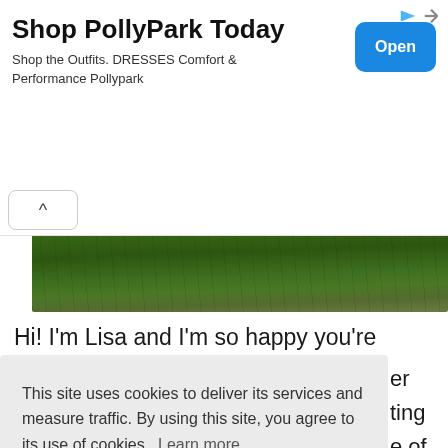[Figure (screenshot): Advertisement banner for PollyPark with title 'Shop PollyPark Today', subtitle text, and blue Open button]
Shop PollyPark Today
Shop the Outfits. DRESSES Comfort & Performance Pollypark
[Figure (photo): Grass lawn photo showing green grass close-up]
Hi! I'm Lisa and I'm so happy you're here. I love to
This site uses cookies to deliver its services and measure traffic. By using this site, you agree to its use of cookies. Learn more
Got it!